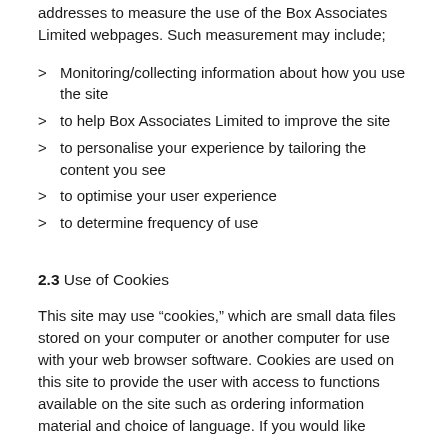addresses to measure the use of the Box Associates Limited webpages. Such measurement may include;
Monitoring/collecting information about how you use the site
to help Box Associates Limited to improve the site
to personalise your experience by tailoring the content you see
to optimise your user experience
to determine frequency of use
2.3 Use of Cookies
This site may use “cookies,” which are small data files stored on your computer or another computer for use with your web browser software. Cookies are used on this site to provide the user with access to functions available on the site such as ordering information material and choice of language. If you would like